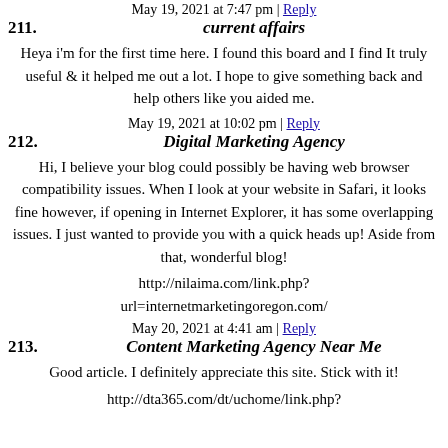May 19, 2021 at 7:47 pm | Reply
211. current affairs
Heya i'm for the first time here. I found this board and I find It truly useful & it helped me out a lot. I hope to give something back and help others like you aided me.
May 19, 2021 at 10:02 pm | Reply
212. Digital Marketing Agency
Hi, I believe your blog could possibly be having web browser compatibility issues. When I look at your website in Safari, it looks fine however, if opening in Internet Explorer, it has some overlapping issues. I just wanted to provide you with a quick heads up! Aside from that, wonderful blog!
http://nilaima.com/link.php?url=internetmarketingoregon.com/
May 20, 2021 at 4:41 am | Reply
213. Content Marketing Agency Near Me
Good article. I definitely appreciate this site. Stick with it!
http://dta365.com/dt/uchome/link.php?